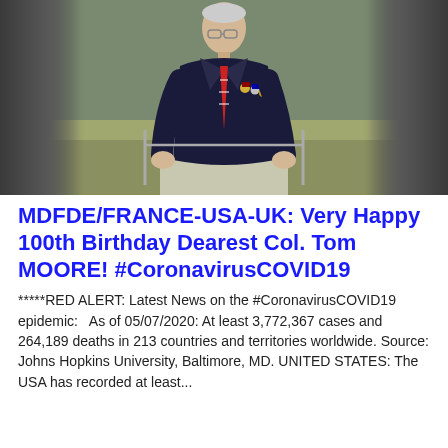[Figure (photo): Photograph of an elderly man in a dark navy suit with military medals on his chest and a red striped tie, leaning forward slightly. The left and right sides of the image are blurred/darkened, with the central figure clearly visible.]
MDFDE/FRANCE-USA-UK: Very Happy 100th Birthday Dearest Col. Tom MOORE! #CoronavirusCOVID19
*****RED ALERT: Latest News on the #CoronavirusCOVID19 epidemic:   As of 05/07/2020: At least 3,772,367 cases and 264,189 deaths in 213 countries and territories worldwide. Source: Johns Hopkins University, Baltimore, MD. UNITED STATES: The USA has recorded at least...